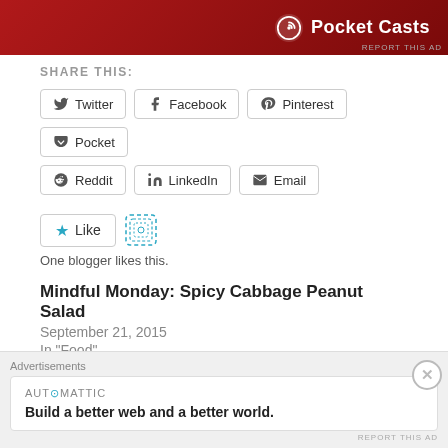[Figure (screenshot): Pocket Casts advertisement banner with red gradient background and white Pocket Casts logo]
REPORT THIS AD
SHARE THIS:
Twitter | Facebook | Pinterest | Pocket | Reddit | LinkedIn | Email
Like
One blogger likes this.
Mindful Monday: Spicy Cabbage Peanut Salad
September 21, 2015
In "Food"
The Ultimate Chocolate Peanut Butter Cupcake
Advertisements
AUTOMATTIC
Build a better web and a better world.
REPORT THIS AD